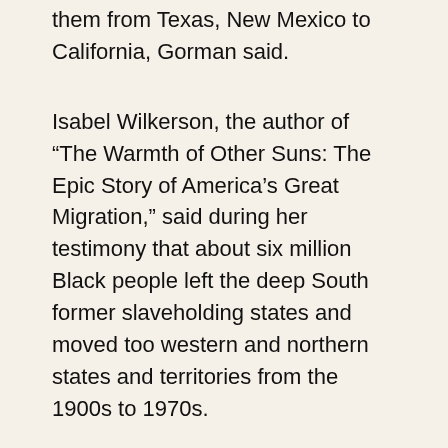them from Texas, New Mexico to California, Gorman said.
Isabel Wilkerson, the author of “The Warmth of Other Suns: The Epic Story of America’s Great Migration,” said during her testimony that about six million Black people left the deep South former slaveholding states and moved too western and northern states and territories from the 1900s to 1970s.
After arriving to their destinations, they struggled with housing, employment, and educational discrimination, the author said.
“I am testifying because not enough Americans